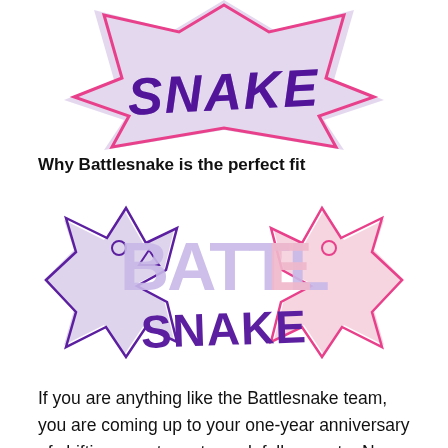[Figure (logo): Battlesnake logo top portion cropped — stylized lightning bolt star shape in lavender/pink with 'SNAKE' text in dark purple brush lettering]
Why Battlesnake is the perfect fit
[Figure (logo): Full Battlesnake logo — two snake heads facing each other forming a star/lightning bolt shape in lavender and pink outline, with 'BATTLE' in large block letters and 'SNAKE' in dark purple brush lettering]
If you are anything like the Battlesnake team, you are coming up to your one-year anniversary of shifting your team to work fully remote. Now that we've all gotten